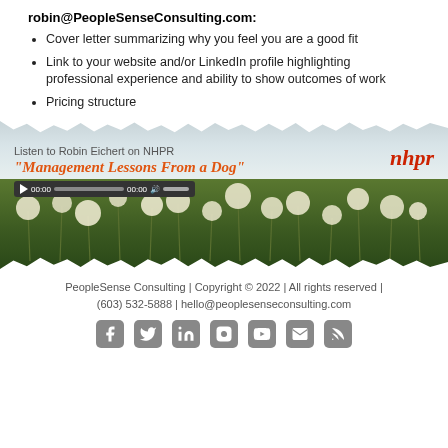robin@PeopleSenseConsulting.com:
Cover letter summarizing why you feel you are a good fit
Link to your website and/or LinkedIn profile highlighting professional experience and ability to show outcomes of work
Pricing structure
[Figure (photo): Banner image with dandelion field background, text 'Listen to Robin Eichert on NHPR' and '"Management Lessons From a Dog"' with audio player and NHPR logo]
PeopleSense Consulting | Copyright © 2022 | All rights reserved | (603) 532-5888 | hello@peoplesenseconsulting.com
[Figure (illustration): Row of social media icons: Facebook, Twitter, LinkedIn, Instagram, YouTube, Email, RSS]